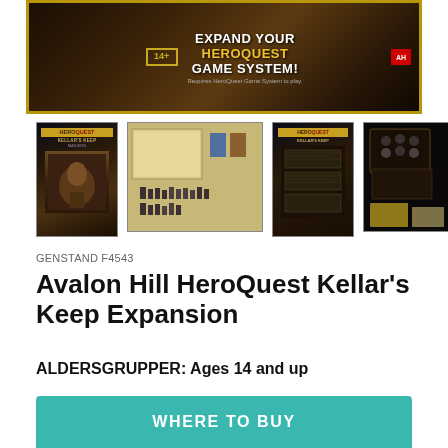[Figure (photo): HeroQuest Kellar's Keep expansion box product image at top showing '14+ EXPAND YOUR HEROQUEST GAME SYSTEM!' text with gold border on dark background]
[Figure (photo): Four product thumbnail images: 1) Box cover art with HeroQuest Kellar's Keep title, 2) Game components spread out including miniatures and cards, 3) Back of box, 4) Assembled components on dark background]
GENSTAND F4543
Avalon Hill HeroQuest Kellar's Keep Expansion
ALDERSGRUPPER: Ages 14 and up
WHERE TO BUY